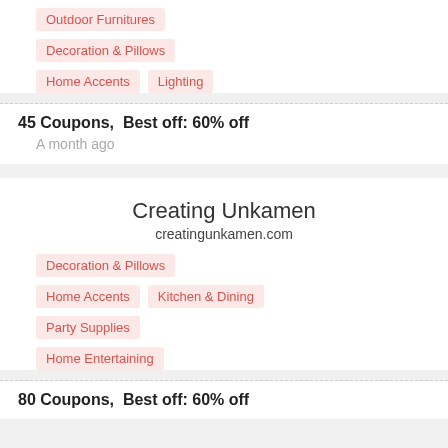Outdoor Furnitures
Decoration & Pillows
Home Accents
Lighting
45 Coupons,  Best off: 60% off
A month ago
Creating Unkamen
creatingunkamen.com
Decoration & Pillows
Home Accents
Kitchen & Dining
Party Supplies
Home Entertaining
80 Coupons,  Best off: 60% off